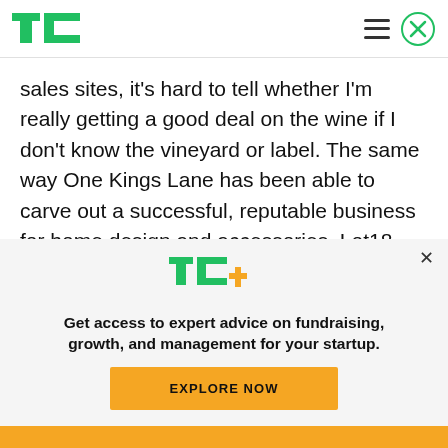TechCrunch
sales sites, it's hard to tell whether I'm really getting a good deal on the wine if I don't know the vineyard or label. The same way One Kings Lane has been able to carve out a successful, reputable business for home design and accessories, Lot18 could be the go-to, flash sales site for wine, accessories and more.
[Figure (logo): TechCrunch TC+ logo with green TC letters and orange plus sign]
Get access to expert advice on fundraising, growth, and management for your startup.
EXPLORE NOW